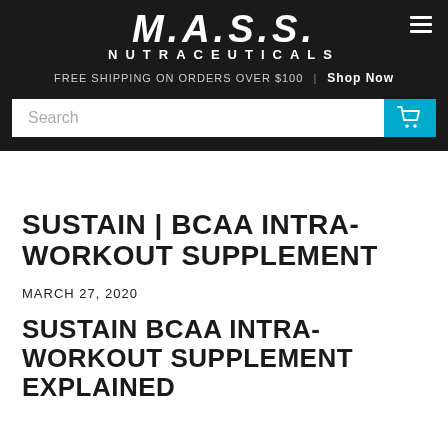M.A.S.S. NUTRACEUTICALS
FREE SHIPPING ON ORDERS OVER $100 | Shop Now
SUSTAIN | BCAA INTRA-WORKOUT SUPPLEMENT
MARCH 27, 2020
SUSTAIN BCAA INTRA-WORKOUT SUPPLEMENT EXPLAINED